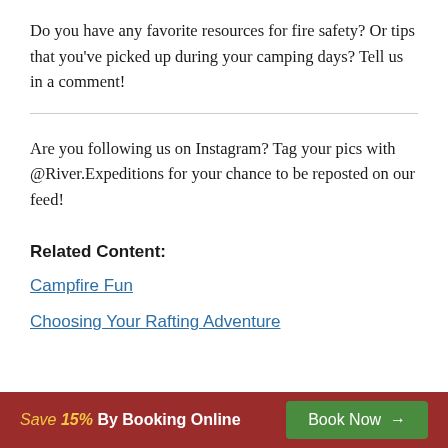Do you have any favorite resources for fire safety? Or tips that you've picked up during your camping days? Tell us in a comment!
Are you following us on Instagram? Tag your pics with @River.Expeditions for your chance to be reposted on our feed!
Related Content:
Campfire Fun
Choosing Your Rafting Adventure
Save 15% By Booking Online  Book Now →